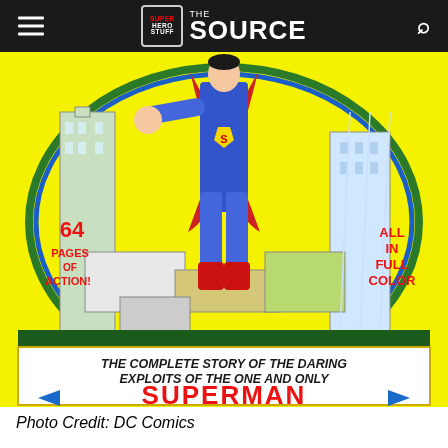SUPER HERO STUFF THE SOURCE
[Figure (illustration): Classic Superman comic book cover showing Superman leaping over city buildings with yellow background. Text reads: '64 PAGES OF ACTION!' on the left, 'ALL IN FULL COLOR' on the right, and at the bottom 'THE COMPLETE STORY OF THE DARING EXPLOITS OF THE ONE AND ONLY SUPERMAN']
Photo Credit: DC Comics